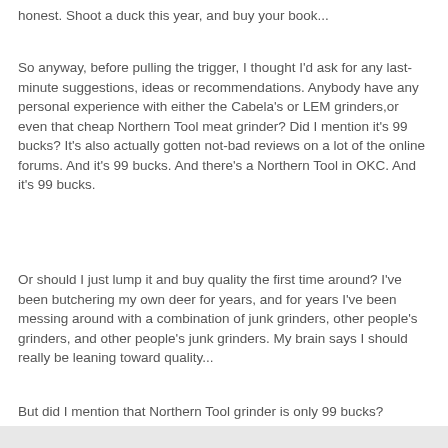honest. Shoot a duck this year, and buy your book...
So anyway, before pulling the trigger, I thought I'd ask for any last-minute suggestions, ideas or recommendations. Anybody have any personal experience with either the Cabela's or LEM grinders,or even that cheap Northern Tool meat grinder? Did I mention it's 99 bucks? It's also actually gotten not-bad reviews on a lot of the online forums. And it's 99 bucks. And there's a Northern Tool in OKC. And it's 99 bucks.
Or should I just lump it and buy quality the first time around? I've been butchering my own deer for years, and for years I've been messing around with a combination of junk grinders, other people's grinders, and other people's junk grinders. My brain says I should really be leaning toward quality...
But did I mention that Northern Tool grinder is only 99 bucks?